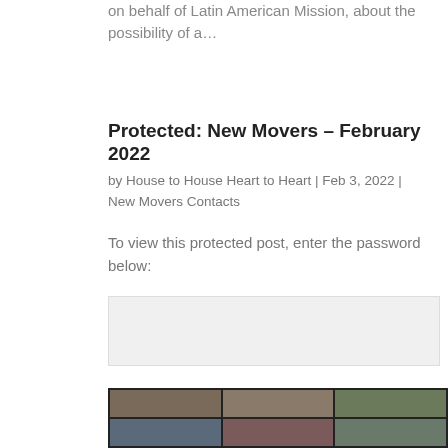on behalf of Latin American Mission, about the possibility of a…
Protected: New Movers – February 2022
by House to House Heart to Heart | Feb 3, 2022 | New Movers Contacts
To view this protected post, enter the password below:
[Figure (other): Password input field (grey box)]
[Figure (other): Submit button (blue)]
[Figure (photo): Collage of group meeting photos arranged in a 3x2 grid on a dark background]